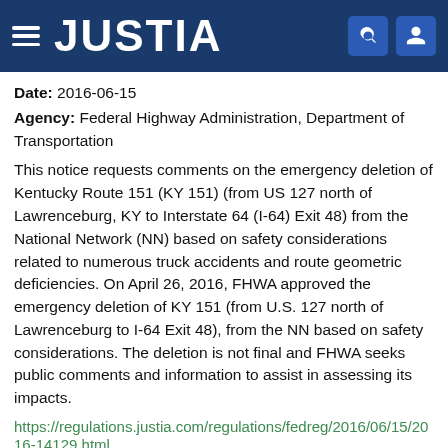JUSTIA
Date: 2016-06-15
Agency: Federal Highway Administration, Department of Transportation
This notice requests comments on the emergency deletion of Kentucky Route 151 (KY 151) (from US 127 north of Lawrenceburg, KY to Interstate 64 (I-64) Exit 48) from the National Network (NN) based on safety considerations related to numerous truck accidents and route geometric deficiencies. On April 26, 2016, FHWA approved the emergency deletion of KY 151 (from U.S. 127 north of Lawrenceburg to I-64 Exit 48), from the NN based on safety considerations. The deletion is not final and FHWA seeks public comments and information to assist in assessing its impacts.
https://regulations.justia.com/regulations/fedreg/2016/06/15/2016-14129.html